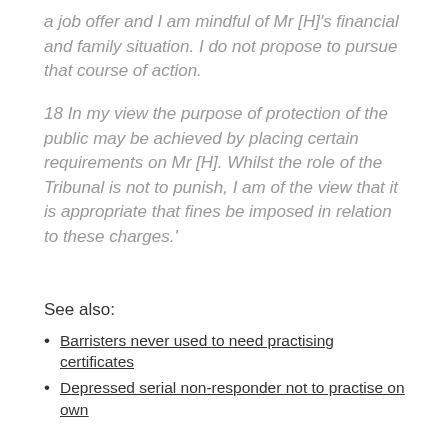a job offer and I am mindful of Mr [H]'s financial and family situation. I do not propose to pursue that course of action.
18 In my view the purpose of protection of the public may be achieved by placing certain requirements on Mr [H]. Whilst the role of the Tribunal is not to punish, I am of the view that it is appropriate that fines be imposed in relation to these charges.'
See also:
Barristers never used to need practising certificates
Depressed serial non-responder not to practise on own